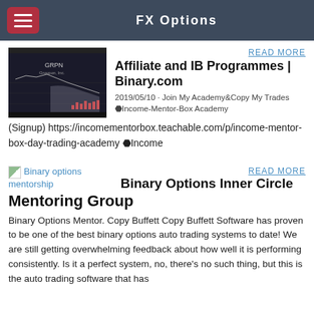FX Options
READ MORE
Affiliate and IB Programmes | Binary.com
2019/05/10 · Join My Academy&Copy My Trades ⬣Income-Mentor-Box Academy (Signup) https://incomementorbox.teachable.com/p/income-mentor-box-day-trading-academy ⬣Income
[Figure (screenshot): Trading chart screenshot showing GRPN stock with candlestick chart and red bar indicators]
READ MORE
Binary Options Inner Circle Mentoring Group
Binary options mentorship
Binary Options Mentor. Copy Buffett Copy Buffett Software has proven to be one of the best binary options auto trading systems to date! We are still getting overwhelming feedback about how well it is performing consistently. Is it a perfect system, no, there's no such thing, but this is the auto trading software that has